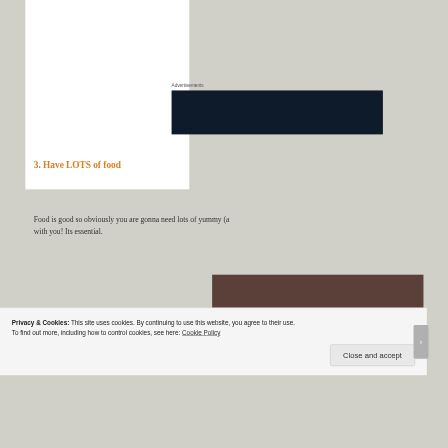Advertisements
[Figure (other): Dark navy blue advertisement block]
3. Have LOTS of food
Food is good so obviously you are gonna need lots of yummy (a... with you! Its essential.
[Figure (photo): Colorful photo partially visible at bottom right]
Privacy & Cookies: This site uses cookies. By continuing to use this website, you agree to their use.
To find out more, including how to control cookies, see here: Cookie Policy
Close and accept